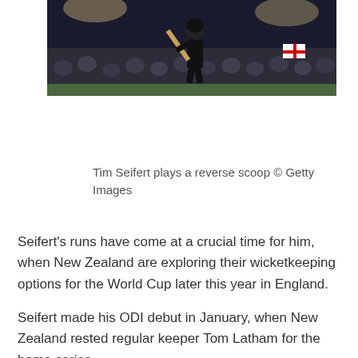[Figure (photo): Cricket player Tim Seifert playing a reverse scoop shot at night, wearing black helmet and dark uniform, with crowd in background]
Tim Seifert plays a reverse scoop © Getty Images
Seifert's runs have come at a crucial time for him, when New Zealand are exploring their wicketkeeping options for the World Cup later this year in England.
Seifert made his ODI debut in January, when New Zealand rested regular keeper Tom Latham for the home series against…